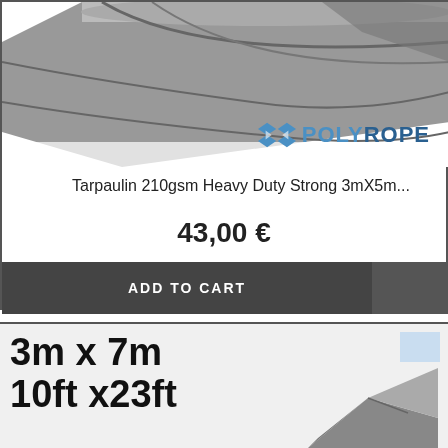[Figure (photo): Rolled grey tarpaulin product photo with POLYROPE logo in the lower right area]
Tarpaulin 210gsm Heavy Duty Strong 3mX5m...
43,00 €
ADD TO CART
[Figure (photo): Grey tarpaulin product image with large text showing dimensions: 3m x 7m / 10ft x23ft]